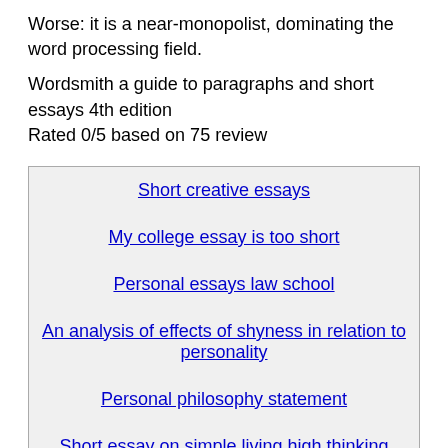Worse: it is a near-monopolist, dominating the word processing field.
Wordsmith a guide to paragraphs and short essays 4th edition
Rated 0/5 based on 75 review
| Short creative essays |
| My college essay is too short |
| Personal essays law school |
| An analysis of effects of shyness in relation to personality |
| Personal philosophy statement |
| Short essay on simple living high thinking |